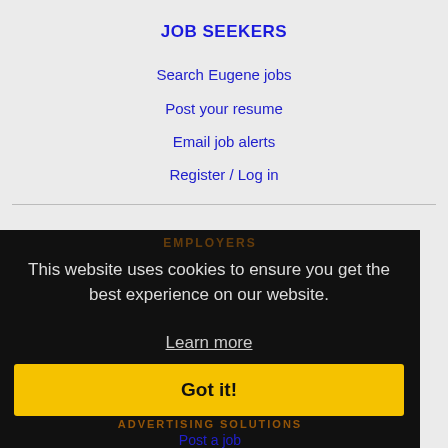JOB SEEKERS
Search Eugene jobs
Post your resume
Email job alerts
Register / Log in
This website uses cookies to ensure you get the best experience on our website.
Learn more
Got it!